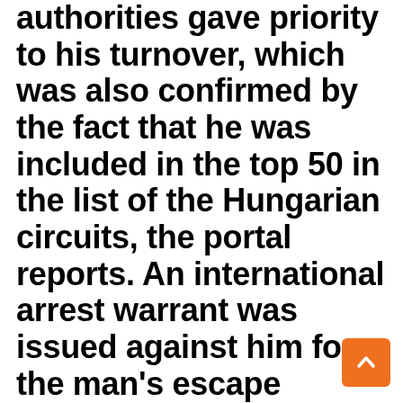authorities gave priority to his turnover, which was also confirmed by the fact that he was included in the top 50 in the list of the Hungarian circuits, the portal reports. An international arrest warrant was issued against him for the man's escape abroad. According to information from Budapest Police Headquarters, staff of the Life Protection and Targeting Division of the National Emergency Police Investigation Office (KR NNI ÉCFO have also joined the search from 2021